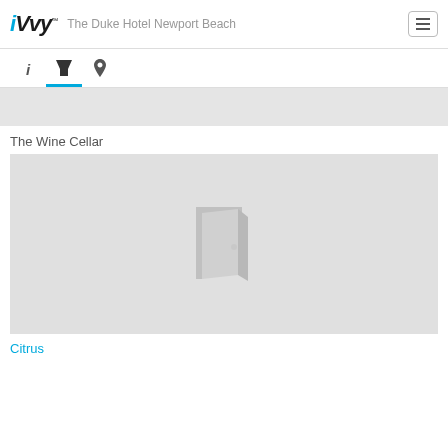iVvy | The Duke Hotel Newport Beach
[Figure (screenshot): Tab navigation bar with info (i), cocktail/filter icon (active, highlighted in blue), and location pin icon]
[Figure (other): Gray banner strip]
The Wine Cellar
[Figure (other): Venue image placeholder with a door/room icon on gray background]
Citrus